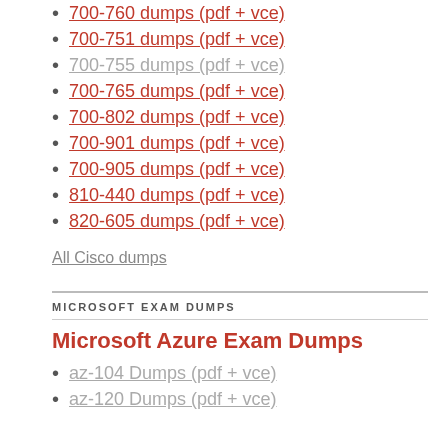700-760 dumps (pdf + vce)
700-751 dumps (pdf + vce)
700-755 dumps (pdf + vce)
700-765 dumps (pdf + vce)
700-802 dumps (pdf + vce)
700-901 dumps (pdf + vce)
700-905 dumps (pdf + vce)
810-440 dumps (pdf + vce)
820-605 dumps (pdf + vce)
All Cisco dumps
MICROSOFT EXAM DUMPS
Microsoft Azure Exam Dumps
az-104 Dumps (pdf + vce)
az-120 Dumps (pdf + vce)